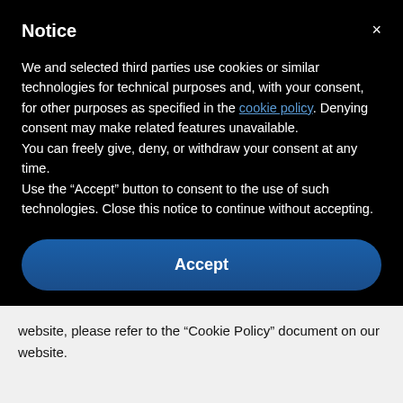Notice
We and selected third parties use cookies or similar technologies for technical purposes and, with your consent, for other purposes as specified in the cookie policy. Denying consent may make related features unavailable.
You can freely give, deny, or withdraw your consent at any time.
Use the “Accept” button to consent to the use of such technologies. Close this notice to continue without accepting.
Accept
Learn more and customize
website, please refer to the “Cookie Policy” document on our website.